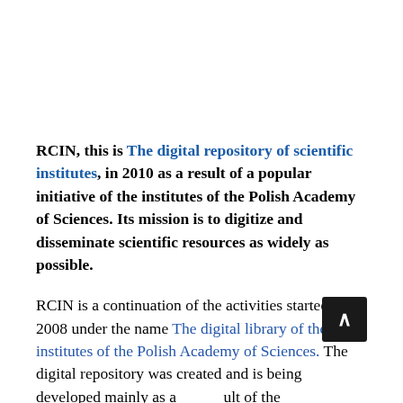RCIN, this is The digital repository of scientific institutes, in 2010 as a result of a popular initiative of the institutes of the Polish Academy of Sciences. Its mission is to digitize and disseminate scientific resources as widely as possible.
RCIN is a continuation of the activities started in 2008 under the name The digital library of the institutes of the Polish Academy of Sciences. The digital repository was created and is being developed mainly as a result of the implementation of two projects jointly implemented by a group of Polish research institutes.